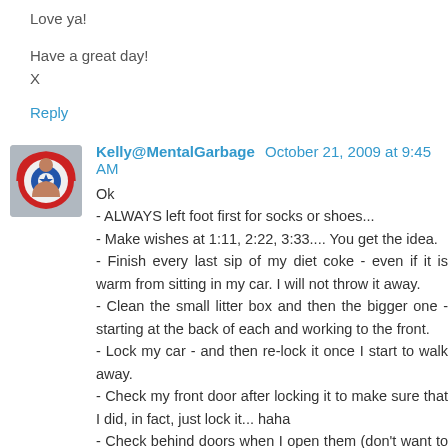Love ya!
Have a great day!
X
Reply
Kelly@MentalGarbage October 21, 2009 at 9:45 AM
Ok
- ALWAYS left foot first for socks or shoes...
- Make wishes at 1:11, 2:22, 3:33.... You get the idea.
- Finish every last sip of my diet coke - even if it is warm from sitting in my car. I will not throw it away.
- Clean the small litter box and then the bigger one - starting at the back of each and working to the front.
- Lock my car - and then re-lock it once I start to walk away.
- Check my front door after locking it to make sure that I did, in fact, just lock it... haha
- Check behind doors when I open them (don't want to be surprised by some strange guy that broke into my house